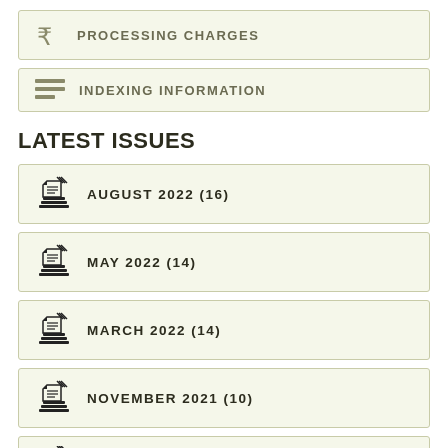PROCESSING CHARGES
INDEXING INFORMATION
LATEST ISSUES
AUGUST 2022 (16)
MAY 2022 (14)
MARCH 2022 (14)
NOVEMBER 2021 (10)